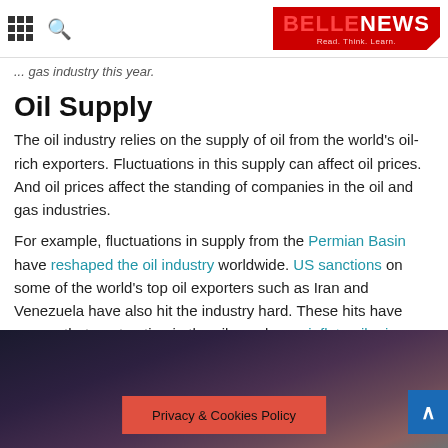BELLENEWS — Read. Think. Learn.
affecting its success in 2019. [truncated] ...gas industry this year.
Oil Supply
The oil industry relies on the supply of oil from the world's oil-rich exporters. Fluctuations in this supply can affect oil prices. And oil prices affect the standing of companies in the oil and gas industries.
For example, fluctuations in supply from the Permian Basin have reshaped the oil industry worldwide. US sanctions on some of the world's top oil exporters such as Iran and Venezuela have also hit the industry hard. These hits have proven that a retraction in the oil supply can inflate oil prices.
[Figure (photo): Dark atmospheric photo, appears to be an outdoor/industrial scene with dark sky and clouds.]
Privacy & Cookies Policy